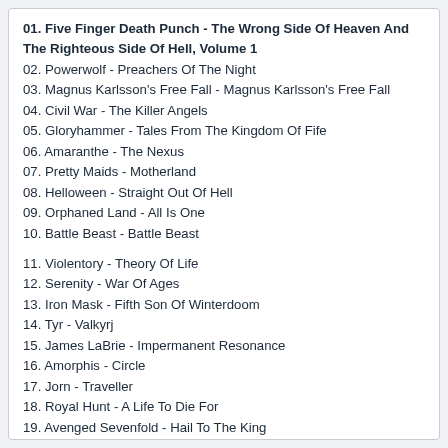01. Five Finger Death Punch - The Wrong Side Of Heaven And The Righteous Side Of Hell, Volume 1
02. Powerwolf - Preachers Of The Night
03. Magnus Karlsson's Free Fall - Magnus Karlsson's Free Fall
04. Civil War - The Killer Angels
05. Gloryhammer - Tales From The Kingdom Of Fife
06. Amaranthe - The Nexus
07. Pretty Maids - Motherland
08. Helloween - Straight Out Of Hell
09. Orphaned Land - All Is One
10. Battle Beast - Battle Beast
11. Violentory - Theory Of Life
12. Serenity - War Of Ages
13. Iron Mask - Fifth Son Of Winterdoom
14. Tyr - Valkyrj
15. James LaBrie - Impermanent Resonance
16. Amorphis - Circle
17. Jorn - Traveller
18. Royal Hunt - A Life To Die For
19. Avenged Sevenfold - Hail To The King
20. Trivium - Vengeance Falls